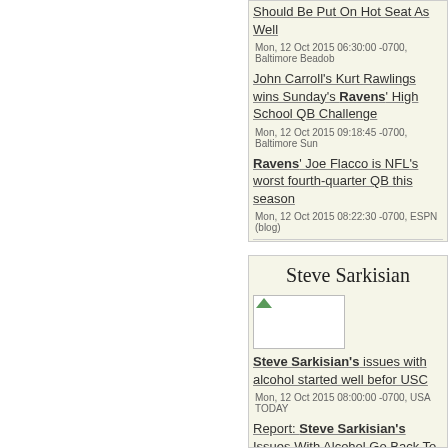Should Be Put On Hot Seat As Well
Mon, 12 Oct 2015 06:30:00 -0700, Baltimore Beadob
John Carroll's Kurt Rawlings wins Sunday's Ravens' High School QB Challenge
Mon, 12 Oct 2015 09:18:45 -0700, Baltimore Sun
Ravens' Joe Flacco is NFL's worst fourth-quarter QB this season
Mon, 12 Oct 2015 08:22:30 -0700, ESPN (blog)
Steve Sarkisian
[Figure (photo): Placeholder image with green arrow icon]
Steve Sarkisian's issues with alcohol started well before USC
Mon, 12 Oct 2015 08:00:00 -0700, USA TODAY
Report: Steve Sarkisian's Issues With Alcohol Go Back To His Days At Washington
Mon, 12 Oct 2015 07:54:07 -0700, Deadspin
Steve Sarkisian placed on indefinit